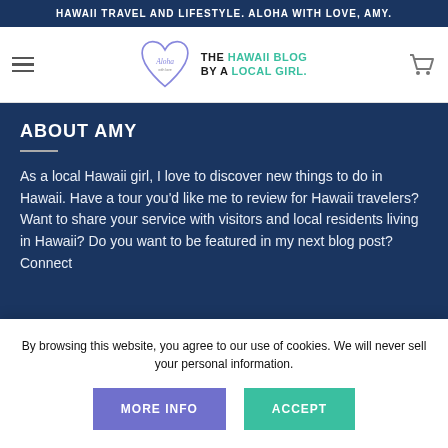HAWAII TRAVEL AND LIFESTYLE. ALOHA WITH LOVE, AMY.
[Figure (logo): Aloha With Love logo: heart outline with cursive 'Aloha' and tagline 'THE HAWAII BLOG BY A LOCAL GIRL.']
ABOUT AMY
As a local Hawaii girl, I love to discover new things to do in Hawaii. Have a tour you'd like me to review for Hawaii travelers? Want to share your service with visitors and local residents living in Hawaii? Do you want to be featured in my next blog post? Connect with me and let's collaborate.
By browsing this website, you agree to our use of cookies. We will never sell your personal information.